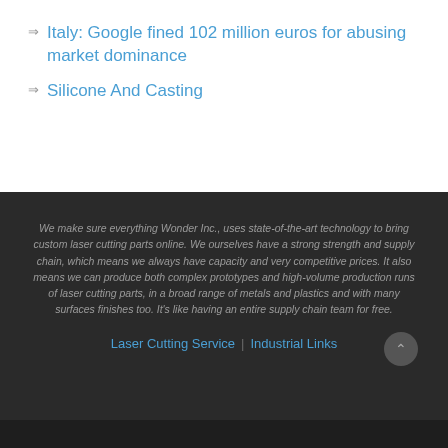Italy: Google fined 102 million euros for abusing market dominance
Silicone And Casting
We make sure everything Wonder Inc., uses state-of-the-art technology to bring custom laser cutting parts online. We ourselves have a strong strength and supply chain, which means we always have capacity and very competitive prices. It also means we can produce both complex prototypes and high-volume production runs of laser cutting parts, in a broad range of metals and plastics and with many surfaces finishes too. It's like having an entire supply chain team for free.
Laser Cutting Service | Industrial Links